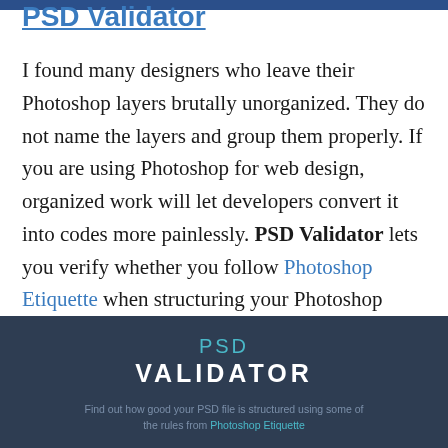PSD Validator
I found many designers who leave their Photoshop layers brutally unorganized. They do not name the layers and group them properly. If you are using Photoshop for web design, organized work will let developers convert it into codes more painlessly. PSD Validator lets you verify whether you follow Photoshop Etiquette when structuring your Photoshop files.
[Figure (logo): PSD Validator logo on dark navy background with tagline: Find out how good your PSD file is structured using some of the rules from Photoshop Etiquette]